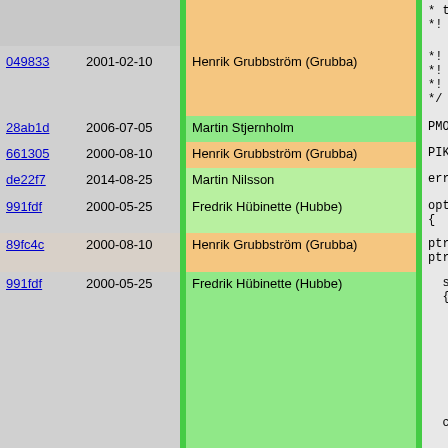| Hash | Date | Author | Code |
| --- | --- | --- | --- |
|  |  |  | * times i
*! (length |
| 049833 | 2001-02-10 | Henrik Grubbström (Grubba) | *!
*! @seealso
*! @[search
*/ |
| 28ab1d | 2006-07-05 | Martin Stjernholm | PMOD_EXPORT |
| 661305 | 2000-08-10 | Henrik Grubbström (Grubba) | PIKEFUN int |
| de22f7 | 2014-08-25 | Martin Nilsson | errname co |
| 991fdf | 2000-05-25 | Fredrik Hübinette (Hubbe) | optflags (
{ |
| 89fc4c | 2000-08-10 | Henrik Grubbström (Grubba) | ptrdiff_t
ptrdiff_t |
| 991fdf | 2000-05-25 | Fredrik Hübinette (Hubbe) | switch (m
{
  case 0
    switc
    {
      cas
      cas
      de
    }
    brea
case 1
  /* ma |